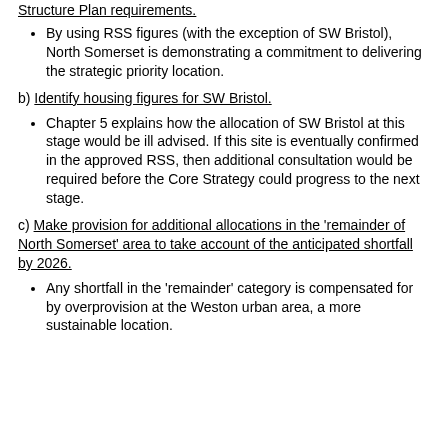Structure Plan requirements.
By using RSS figures (with the exception of SW Bristol), North Somerset is demonstrating a commitment to delivering the strategic priority location.
b) Identify housing figures for SW Bristol.
Chapter 5 explains how the allocation of SW Bristol at this stage would be ill advised. If this site is eventually confirmed in the approved RSS, then additional consultation would be required before the Core Strategy could progress to the next stage.
c) Make provision for additional allocations in the 'remainder of North Somerset' area to take account of the anticipated shortfall by 2026.
Any shortfall in the 'remainder' category is compensated for by overprovision at the Weston urban area, a more sustainable location.